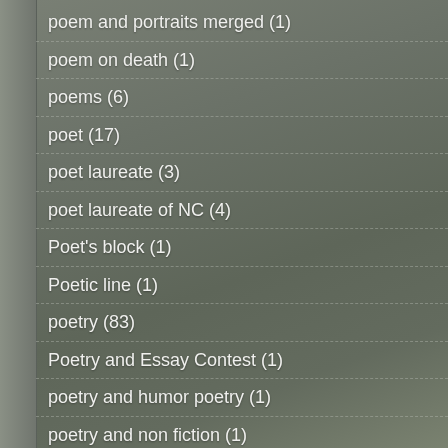poem and portraits merged (1)
poem on death (1)
poems (6)
poet (17)
poet laureate (3)
poet laureate of NC (4)
Poet's block (1)
Poetic line (1)
poetry (83)
Poetry and Essay Contest (1)
poetry and humor poetry (1)
poetry and non fiction (1)
poetry and prose (2)
poetry and the Internet (1)
poetry book (3)
Poetry Book Prize (1)
Poetry books (2)
poetry by Scott Owens (1)
Poetry chapbook (1)